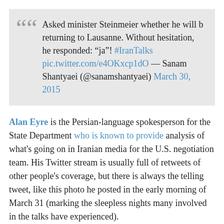Asked minister Steinmeier whether he will b returning to Lausanne. Without hesitation, he responded: “ja”! #IranTalks pic.twitter.com/e4OKxcp1dO — Sanam Shantyaei (@sanamshantyaei) March 30, 2015
Alan Eyre is the Persian-language spokesperson for the State Department who is known to provide analysis of what's going on in Iranian media for the U.S. negotiation team. His Twitter stream is usually full of retweets of other people's coverage, but there is always the telling tweet, like this photo he posted in the early morning of March 31 (marking the sleepless nights many involved in the talks have experienced).
pic.twitter.com/wEIFcBZknb